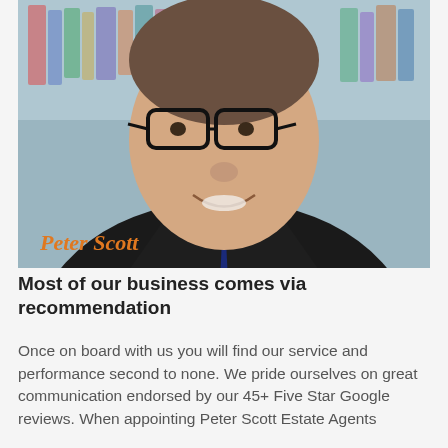[Figure (photo): Professional headshot of Peter Scott, a smiling middle-aged man wearing black-rimmed glasses, a dark suit, white shirt and dark blue tie, with a bookshelf in the background. An orange italic text overlay reads 'Peter Scott' in the lower-left area of the photo.]
Most of our business comes via recommendation
Once on board with us you will find our service and performance second to none. We pride ourselves on great communication endorsed by our 45+ Five Star Google reviews. When appointing Peter Scott Estate Agents